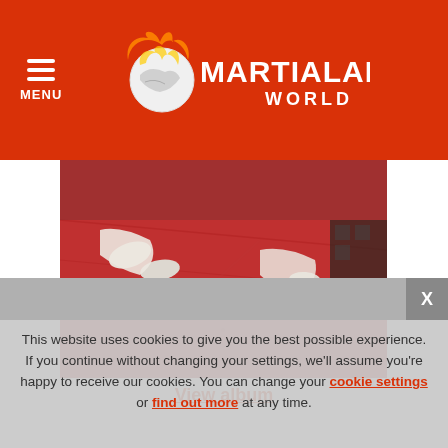MENU | MARTIALART WORLD
[Figure (photo): Photo of martial arts practitioners on a red mat, showing feet and white uniforms]
View album
This website uses cookies to give you the best possible experience. If you continue without changing your settings, we'll assume you're happy to receive our cookies. You can change your cookie settings or find out more at any time.